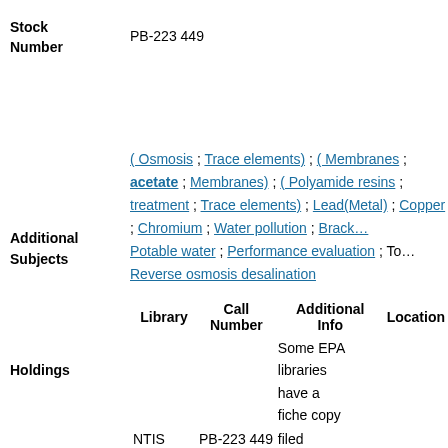Stock Number
PB-223 449
Additional Subjects
( Osmosis ; Trace elements) ; ( Membranes ; acetate ; Membranes) ; ( Polyamide resins ; treatment ; Trace elements) ; Lead(Metal) ; Copper ; Chromium ; Water pollution ; Brackish water ; Potable water ; Performance evaluation ; Reverse osmosis desalination
| Library | Call Number | Additional Info | Location |
| --- | --- | --- | --- |
|  |  | Some EPA libraries have a fiche copy |  |
| NTIS | PB-223 449 | filed |  |
Holdings